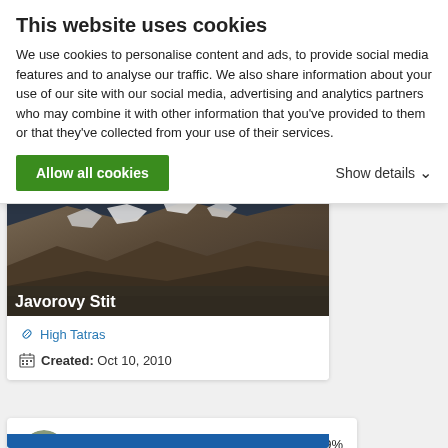This website uses cookies
We use cookies to personalise content and ads, to provide social media features and to analyse our traffic. We also share information about your use of our site with our social media, advertising and analytics partners who may combine it with other information that you've provided to them or that they've collected from your use of their services.
Allow all cookies
Show details
[Figure (photo): Aerial photograph of a rocky mountain peak with snow patches — Javorovy Stit]
Javorovy Stit
High Tatras
Created: Oct 10, 2010
[Figure (photo): Small circular user avatar photo]
janstolba
Score: 80.49%
Views: 2584